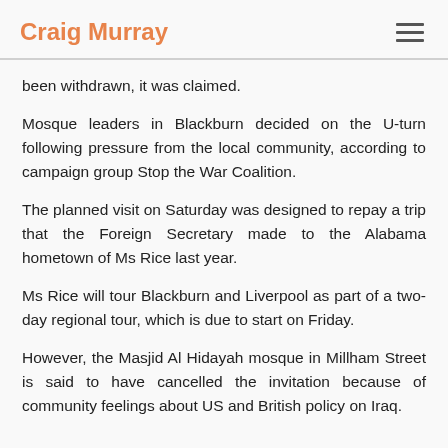Craig Murray
been withdrawn, it was claimed.
Mosque leaders in Blackburn decided on the U-turn following pressure from the local community, according to campaign group Stop the War Coalition.
The planned visit on Saturday was designed to repay a trip that the Foreign Secretary made to the Alabama hometown of Ms Rice last year.
Ms Rice will tour Blackburn and Liverpool as part of a two-day regional tour, which is due to start on Friday.
However, the Masjid Al Hidayah mosque in Millham Street is said to have cancelled the invitation because of community feelings about US and British policy on Iraq.